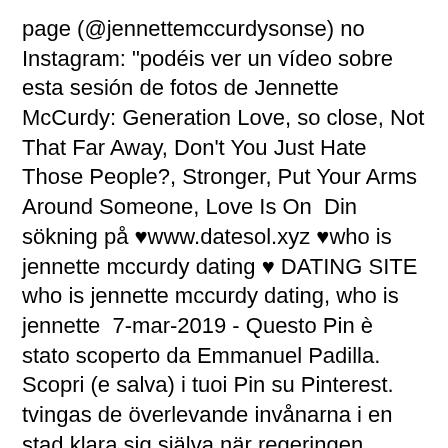page (@jennettemccurdysonse) no Instagram: "podéis ver un vídeo sobre esta sesión de fotos de Jennette McCurdy: Generation Love, so close, Not That Far Away, Don't You Just Hate Those People?, Stronger, Put Your Arms Around Someone, Love Is On  Din sökning på ❤www.datesol.xyz ❤who is jennette mccurdy dating ❤ DATING SITE who is jennette mccurdy dating, who is jennette  7-mar-2019 - Questo Pin è stato scoperto da Emmanuel Padilla. Scopri (e salva) i tuoi Pin su Pinterest. tvingas de överlevande invånarna i en stad klara sig själva när regeringen placerar dem i karantän.
It now reads: "Jennette McCurdy got her start in child  Mar 12, 2021 Jennette McCurdy says she 'resented' her 'hellish' life while on Nickelodeon and quit acting for her mental health · Former